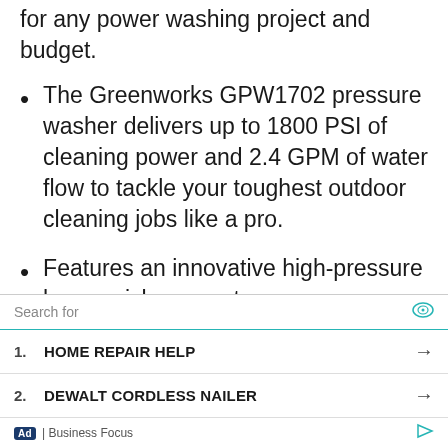washing solutions that are great for any power washing project and budget.
The Greenworks GPW1702 pressure washer delivers up to 1800 PSI of cleaning power and 2.4 GPM of water flow to tackle your toughest outdoor cleaning jobs like a pro.
Features an innovative high-pressure hose quick connect,
Search for
1. HOME REPAIR HELP →
2. DEWALT CORDLESS NAILER →
Ad | Business Focus